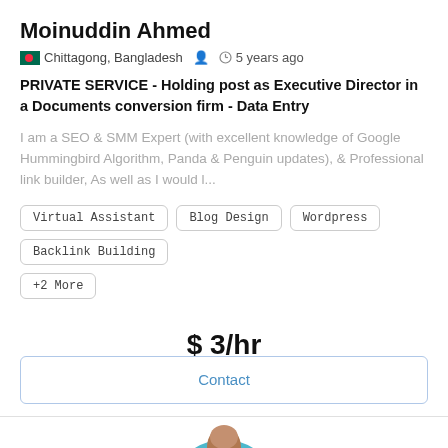Moinuddin Ahmed
🇧🇩 Chittagong, Bangladesh   👤   🕐 5 years ago
PRIVATE SERVICE - Holding post as Executive Director in a Documents conversion firm - Data Entry
I am a SEO & SMM Expert (with excellent knowledge of Google Hummingbird Algorithm, Panda & Penguin updates), & Professional link builder, As well as I would l...
Virtual Assistant
Blog Design
Wordpress
Backlink Building
+2 More
$ 3/hr
Contact
[Figure (photo): Partial avatar/profile photo of a person with a teal/cyan circular background, visible from the top of the head]